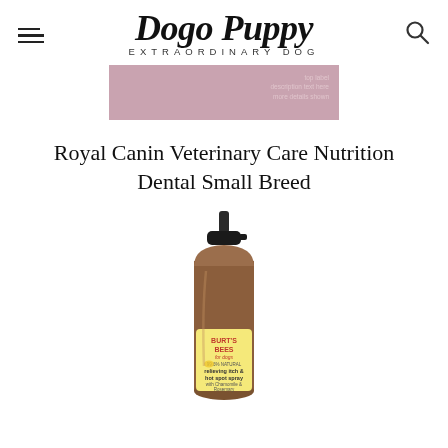Dogo Puppy EXTRAORDINARY DOG
[Figure (other): Pink/mauve horizontal advertisement banner with small light text on the right side]
Royal Canin Veterinary Care Nutrition Dental Small Breed
[Figure (photo): Burt's Bees for Dogs relieving itch & hot spot spray with Chamomile & Rosemary product bottle, amber/brown colored spray bottle with pump dispenser]